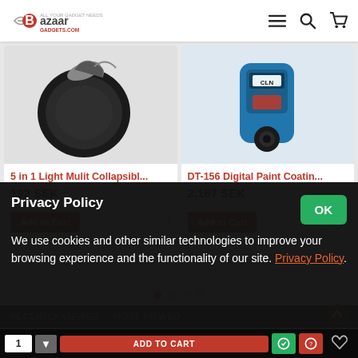Bazaar Gadgets - BazaarGadgets.com
[Figure (screenshot): Product card showing black circular photography reflector - 5 in 1 Light Mulit Collapsibl...]
5 in 1 Light Mulit Collapsibl...
192 SEK
[Figure (screenshot): Product card showing blue DT-156 Digital Paint Coating Thickness Gauge meter]
DT-156 Digital Paint Coatin...
2,167 SEK
RECENTLY VIEWED   MOST VIEWED
Privacy Policy
We use cookies and other similar technologies to improve your browsing experience and the functionality of our site. Privacy Policy.